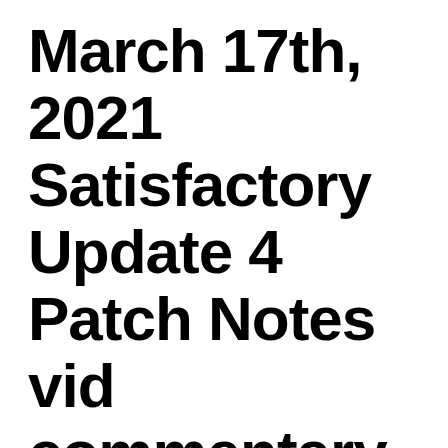March 17th, 2021 Satisfactory Update 4 Patch Notes vid commentary